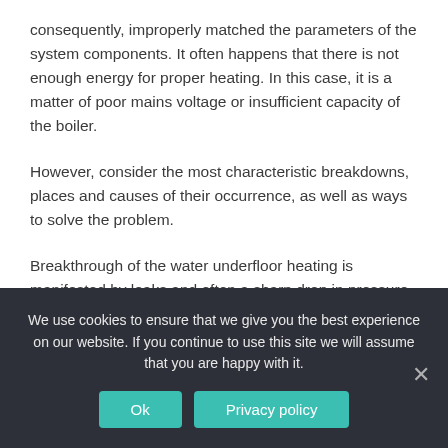consequently, improperly matched the parameters of the system components. It often happens that there is not enough energy for proper heating. In this case, it is a matter of poor mains voltage or insufficient capacity of the boiler.
However, consider the most characteristic breakdowns, places and causes of their occurrence, as well as ways to solve the problem.
Breakthrough of the water underfloor heating is manifested by leaks and often a sharp drop in pressure in the pipes. Leaks not only reduce the amount of coolant in the system, but also found with the destruction of the
We use cookies to ensure that we give you the best experience on our website. If you continue to use this site we will assume that you are happy with it.